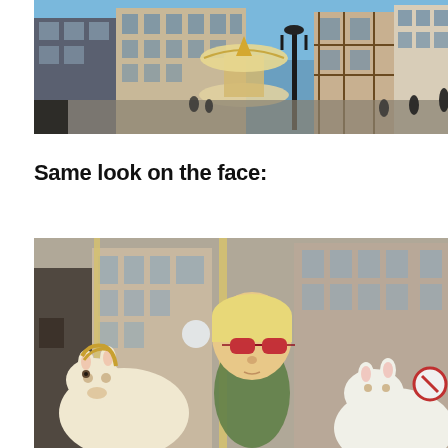[Figure (photo): Outdoor town square photo showing European-style buildings, a carousel/merry-go-round in the center, people walking, a street lamp, and clear blue sky. Strasbourg-style architecture with half-timbered buildings.]
Same look on the face:
[Figure (photo): Child with blonde hair wearing red/dark sunglasses riding a carousel horse (white horse with colorful decoration). European buildings visible in the background. The child has a serious/wide-eyed expression.]